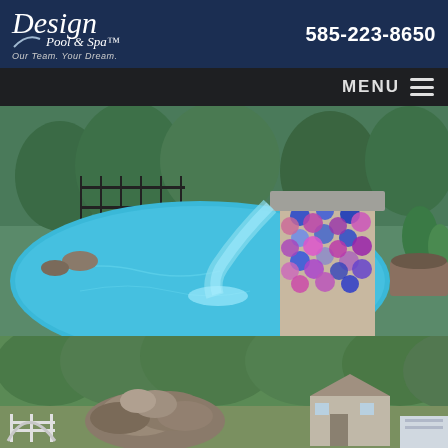[Figure (logo): Design Pool & Spa logo with tagline 'Our Team. Your Dream.']
585-223-8650
MENU
[Figure (photo): Aerial view of an inground swimming pool with a waterfall feature. The pool has bright blue water, a stone waterfall with colorful mosaic tile accents in blue, red, and purple circles. Iron fence and landscaping in the background.]
[Figure (photo): Backyard landscape with a large rock waterfall feature, green trees in the background, a small shed/garage, and a pool area with white fencing.]